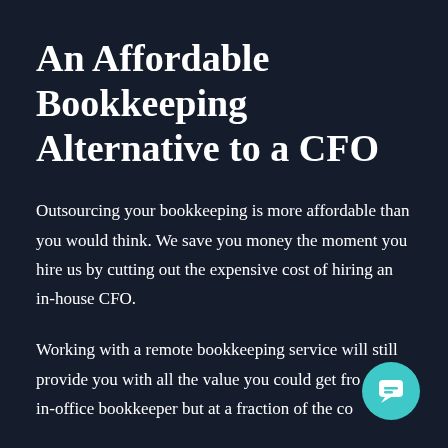An Affordable Bookkeeping Alternative to a CFO
Outsourcing your bookkeeping is more affordable than you would think. We save you money the moment you hire us by cutting out the expensive cost of hiring an in-house CFO.
Working with a remote bookkeeping service will still provide you with all the value you could get from an in-office bookkeeper but at a fraction of the cost.